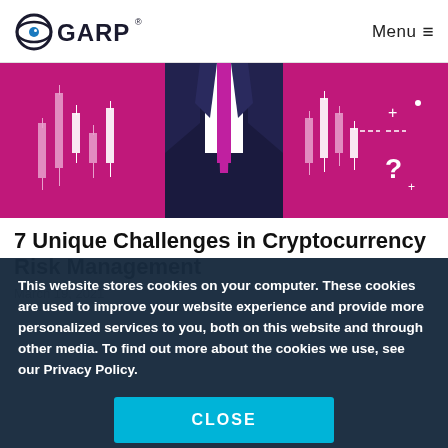GARP  Menu ≡
[Figure (illustration): Illustration of a headless businessman in a dark suit with a purple/magenta tie, surrounded by candlestick chart elements on a magenta/pink background, with a question mark, sparkle stars, and dashed lines]
7 Unique Challenges in Cryptocurrency Risk Management
March 19, 2021
This website stores cookies on your computer. These cookies are used to improve your website experience and provide more personalized services to you, both on this website and through other media. To find out more about the cookies we use, see our Privacy Policy.
CLOSE